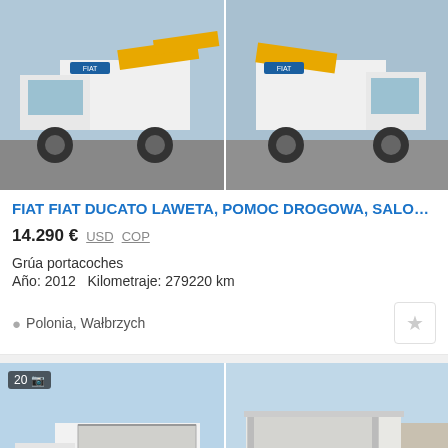[Figure (photo): Two photos of a Fiat Ducato tow truck (laweta) side by side, white truck with yellow loading ramp]
FIAT FIAT DUCATO LAWETA, POMOC DROGOWA, SALO…
14.290 € USD COP
Grúa portacoches
Año: 2012   Kilometraje: 279220 km
Polonia, Wałbrzych
[Figure (photo): Two photos of a white Fiat Ducato curtainsider van (plandeka) side by side, with photo count badge showing 20 photos]